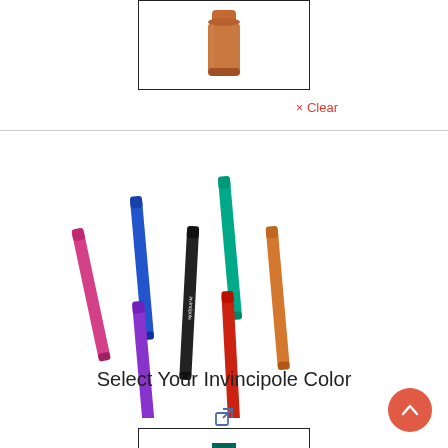[Figure (photo): Orange/copper colored cylindrical product (Invincipole) shown upright in a bordered box at top of page]
× Clear
[Figure (photo): Group of 7 colorful cylindrical Invincipole products arranged at angles: pink/magenta, blue, purple, black, teal/green, red, orange]
Select Your Invincipole Color
[Figure (other): External link icon]
[Figure (photo): Teal/green colored cylindrical product (Invincipole) shown upright, partially visible at bottom of page in a bordered box]